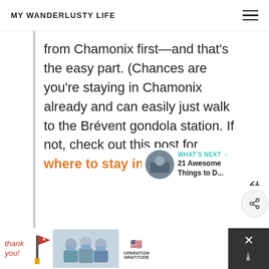MY WANDERLUSTY LIFE
from Chamonix first—and that's the easy part. (Chances are you're staying in Chamonix already and can easily just walk to the Brévent gondola station. If not, check out this post for where to stay in Chamonix.)
[Figure (screenshot): What's Next widget showing a circular thumbnail image with text 'WHAT'S NEXT → 21 Awesome Things to D...']
[Figure (screenshot): Bottom advertisement bar with 'Thank you!' text, Operation Gratitude logo and medical workers photo, close button with X]